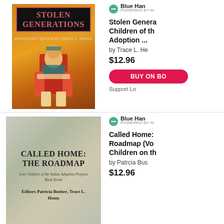[Figure (illustration): Book cover for 'Stolen Generations' anthology edited by Trace L. Hentz. Black background with pink/red title text in a bordered box, colorful Native American figure in traditional dress below.]
Blue Han
POWERED BY
Stolen Generations: Children of the Adoption ...
by Trace L. He
$12.96
BUY ON BO
Support Lo
[Figure (illustration): Book cover for 'Called Home: The Roadmap' — Lost Children of the Indian Adoption Projects Book Series. Editors Patricia Busbee, Trace L. Hentz. Muted greenish-gray background with bold serif title text.]
Blue Han
POWERED BY
Called Home: Roadmap (Vo Children on th
by Patrcia Bus
$12.96